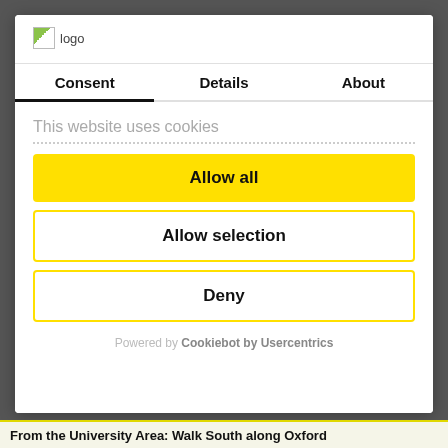[Figure (logo): Logo image placeholder with text 'logo']
Consent | Details | About
This website uses cookies
Allow all
Allow selection
Deny
Powered by Cookiebot by Usercentrics
From the University Area: Walk South along Oxford